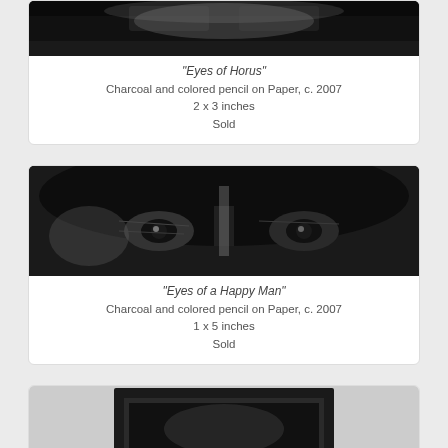[Figure (photo): Black and white close-up artwork - Eyes of Horus, charcoal on paper]
"Eyes of Horus"
Charcoal and colored pencil on Paper, c. 2007
2 x 3 inches
Sold
[Figure (photo): Black and white close-up artwork of eyes - Eyes of a Happy Man, charcoal on paper]
"Eyes of a Happy Man"
Charcoal and colored pencil on Paper, c. 2007
1 x 5 inches
Sold
[Figure (photo): Partial view of third artwork, black and white, appears to show a framed subject]